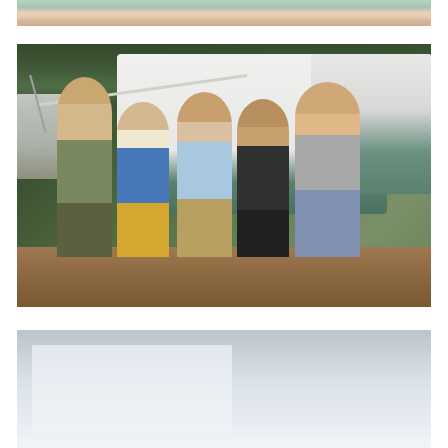[Figure (photo): Top portion of a group photo showing people from the waist/torso up, cropped at the top edge of the page. Multiple people standing together outdoors.]
[Figure (photo): Family/group photo of five people standing in front of a large white and teal Class C motorhome/RV at a campsite. Trees visible in background. From left to right: tall young man with backpack and cap, shorter girl in blue hoodie and yellow shorts, young woman in light blue shirt, woman in dark jacket, man in grey shirt and plaid shorts. Dirt ground, another RV visible in background left.]
[Figure (photo): Partial view of a third photo at the bottom of the page, mostly light blue and grey tones, appears to be another outdoor/camping scene, mostly cropped out.]